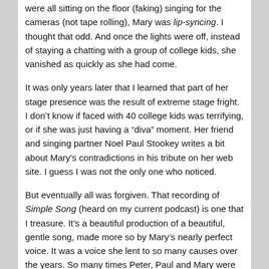were all sitting on the floor (faking) singing for the cameras (not tape rolling), Mary was lip-syncing. I thought that odd. And once the lights were off, instead of staying a chatting with a group of college kids, she vanished as quickly as she had come.
It was only years later that I learned that part of her stage presence was the result of extreme stage fright. I don't know if faced with 40 college kids was terrifying, or if she was just having a “diva” moment. Her friend and singing partner Noel Paul Stookey writes a bit about Mary’s contradictions in his tribute on her web site. I guess I was not the only one who noticed.
But eventually all was forgiven. That recording of Simple Song (heard on my current podcast) is one that I treasure. It’s a beautiful production of a beautiful, gentle song, made more so by Mary’s nearly perfect voice. It was a voice she lent to so many causes over the years. So many times Peter, Paul and Mary were there, marching with everyone from Dr. Martin Luther King (they played at the 1963 March on Washington) to Nelson Mandella’s